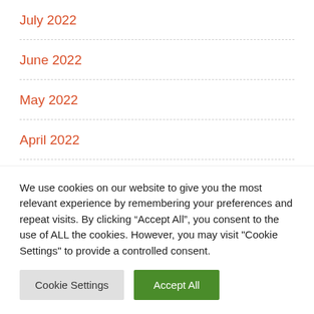July 2022
June 2022
May 2022
April 2022
March 2022
December 2021
We use cookies on our website to give you the most relevant experience by remembering your preferences and repeat visits. By clicking “Accept All”, you consent to the use of ALL the cookies. However, you may visit "Cookie Settings" to provide a controlled consent.